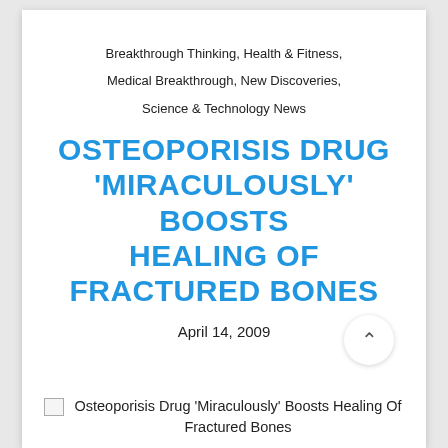Breakthrough Thinking, Health & Fitness, Medical Breakthrough, New Discoveries, Science & Technology News
OSTEOPORISIS DRUG 'MIRACULOUSLY' BOOSTS HEALING OF FRACTURED BONES
April 14, 2009
Osteoporisis Drug 'Miraculously' Boosts Healing Of Fractured Bones